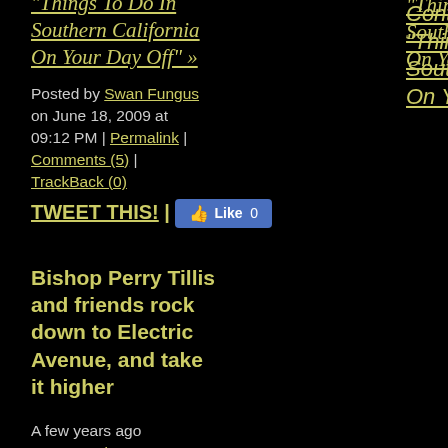Continue reading "Things To Do In Southern California On Your Day Off" »
Posted by Swan Fungus on June 18, 2009 at 09:12 PM | Permalink | Comments (5) | TrackBack (0)
TWEET THIS! |
[Figure (other): Facebook Like button showing 0 likes]
Bishop Perry Tillis and friends rock down to Electric Avenue, and take it higher
A few years ago WFMU's Sinners Crossroads host Kevin Nutt sent me the gift of a DVD with footage shot by Steve Grauberger of late electric gospel guitar great